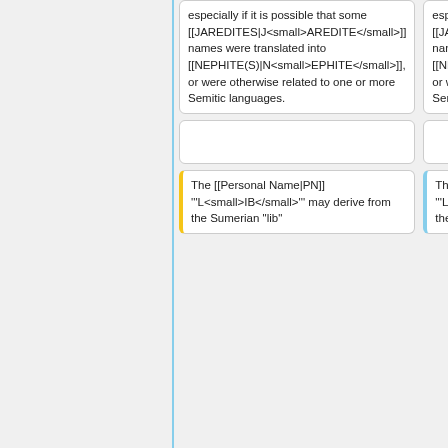especially if it is possible that some [[JAREDITES|J<small>AREDITE</small>]] names were translated into [[NEPHITE(S)|N<small>EPHITE</small>]], or were otherwise related to one or more Semitic languages.
especially if it is possible that some [[JAREDITES|J<small>AREDITE</small>]] names were translated into [[NEPHITE(S)|N<small>EPHITE</small>]], or were otherwise related to one or more Semitic languages.
The [[Personal Name|PN]] '''L<small>IB</small>''' may derive from the Sumerian "lib"
The [[Personal Name|PN]] '''L<small>IB</small>''' may derive from the Sumerian "lib"